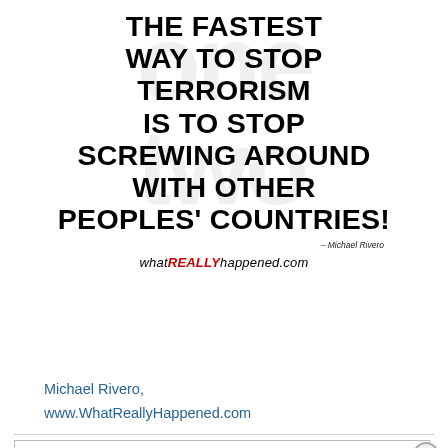[Figure (illustration): Graphic with bold black text on white background with faint gray watermark letters reading 'THE FASTEST WAY TO STOP TERRORISM IS TO STOP SCREWING AROUND WITH OTHER PEOPLES' COUNTRIES!' attributed to Michael Rivero, with whatREALLYhappened.com branding below]
Michael Rivero, www.WhatReallyHappened.com
Privacy & Cookies: This site uses cookies. By continuing to use this website, you agree to their use. To find out more, including how to control cookies, see here: Cookie Policy